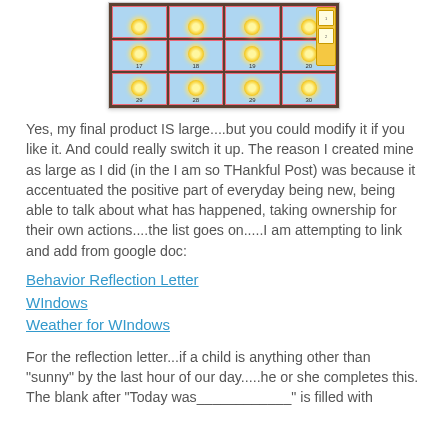[Figure (photo): Photo of a classroom calendar or behavior chart showing a grid of sun cards numbered 17-30, with yellow pocket holders on the right side, mounted on a brown/cork board background.]
Yes, my final product IS large....but you could modify it if you like it. And could really switch it up. The reason I created mine as large as I did (in the I am so THankful Post) was because it accentuated the positive part of everyday being new, being able to talk about what has happened, taking ownership for their own actions....the list goes on.....I am attempting to link and add from google doc:
Behavior Reflection Letter
WIndows
Weather for WIndows
For the reflection letter...if a child is anything other than "sunny" by the last hour of our day.....he or she completes this. The blank after "Today was____________" is filled with